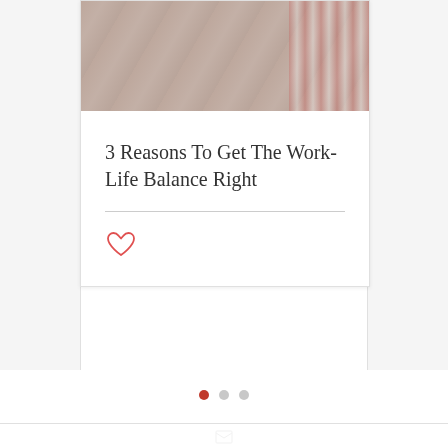[Figure (photo): Top portion of a card showing a photo of people working at a table with a red and white checkered pattern, partially cropped]
3 Reasons To Get The Work-Life Balance Right
[Figure (illustration): Heart icon outline in red/coral color (like/favorite button)]
[Figure (illustration): Carousel navigation dots: one filled red (active) and two grey (inactive)]